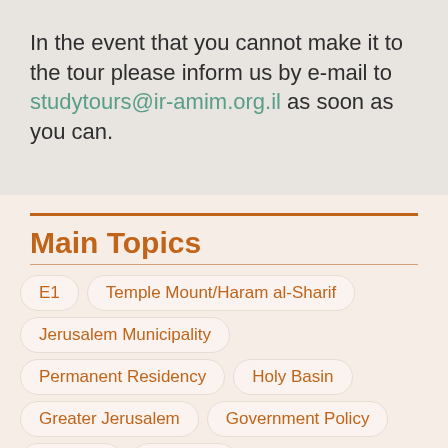In the event that you cannot make it to the tour please inform us by e-mail to studytours@ir-amim.org.il as soon as you can.
Main Topics
E1
Temple Mount/Haram al-Sharif
Jerusalem Municipality
Permanent Residency
Holy Basin
Greater Jerusalem
Government Policy
Violence
Evictions